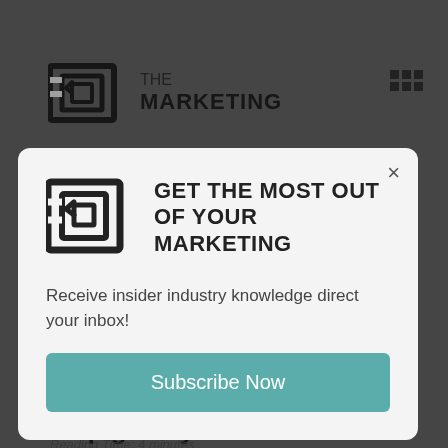[Figure (screenshot): Background website header with 'The Marketing' logo (geometric icon + text) and a grid icon on the right, overlaid by a modal popup.]
[Figure (logo): Geometric square/maze-style logo icon for The Marketing brand, shown inside the modal.]
GET THE MOST OUT OF YOUR MARKETING
Receive insider industry knowledge direct your inbox!
Subscribe Now
51 marketing ideas to help grow your business
Reading Time: 4 minutes